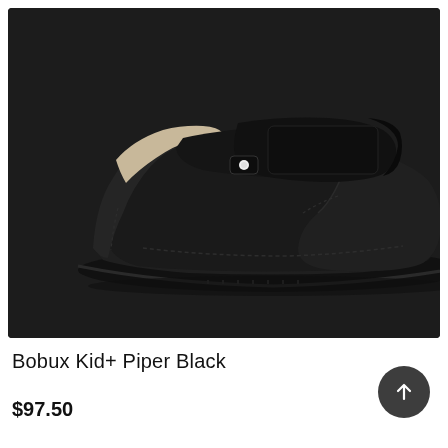[Figure (photo): A black leather children's shoe (Bobux Kid+ Piper Black) with velcro strap closure, T-bar style, on a dark background. The shoe is shown in profile view from the right side.]
Bobux Kid+ Piper Black
$97.50